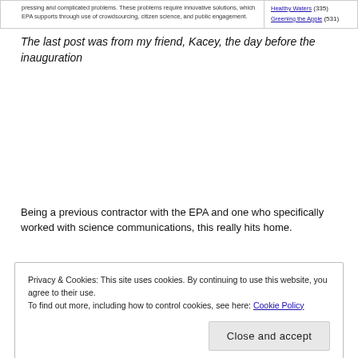pressing and complicated problems. These problems require innovative solutions, which EPA supports through use of crowdsourcing, citizen science, and public engagement.
Healthy Waters (335)
Greening the Apple (531)
The last post was from my friend, Kacey, the day before the inauguration
Being a previous contractor with the EPA and one who specifically worked with science communications, this really hits home.
Privacy & Cookies: This site uses cookies. By continuing to use this website, you agree to their use.
To find out more, including how to control cookies, see here: Cookie Policy
Close and accept